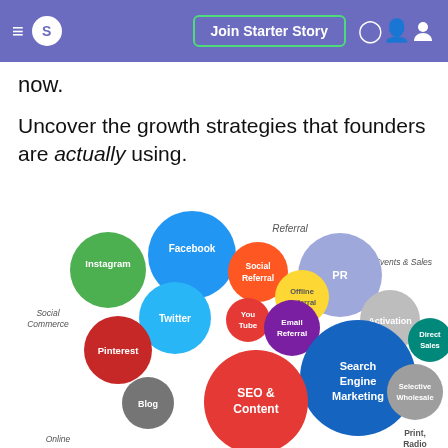S  Join Starter Story
now.
Uncover the growth strategies that founders are actually using.
[Figure (bubble-chart): Bubble chart of marketing/growth channel strategies including Instagram, Facebook, Referral, Social Referral, Twitter, YouTube, Email Referral, Offline Referral, PR, Social Commerce, Pinterest, SEO & Content, Search Engine Marketing, Blog, Activation, Selective Wholesale, Direct Sales, PR Events & Sales, Online, Print Radio. Bubbles sized by relative importance.]